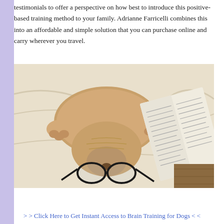testimonials to offer a perspective on how best to introduce this positive-based training method to your family. Adrianne Farricelli combines this into an affordable and simple solution that you can purchase online and carry wherever you travel.
[Figure (photo): A golden Labrador dog lying on a white bed/couch with reading glasses placed on its snout and an open book resting near its paws, viewed from above.]
> > Click Here to Get Instant Access to Brain Training for Dogs < <